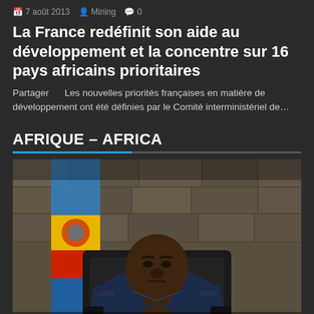7 août 2013  Mining  0
La France redéfinit son aide au développement et la concentre sur 16 pays africains prioritaires
Partager     Les nouvelles priorités françaises en matière de développement ont été définies par le Comité interministériel de…
AFRIQUE – AFRICA
[Figure (photo): A man in a dark blue military-style jacket sitting at a desk with a clenched fist, with a blue, red, and yellow flag (Democratic Republic of Congo) visible in the background against a stone wall.]